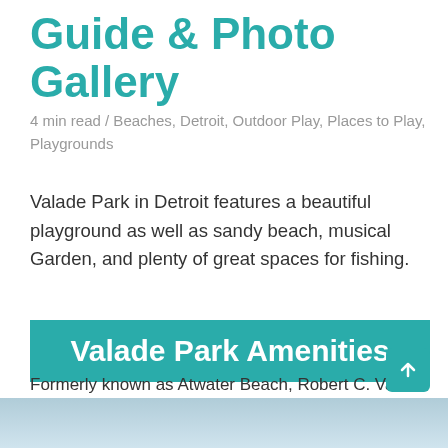Guide & Photo Gallery
4 min read / Beaches, Detroit, Outdoor Play, Places to Play, Playgrounds
Valade Park in Detroit features a beautiful playground as well as sandy beach, musical Garden, and plenty of great spaces for fishing.
Valade Park Amenities
Formerly known as Atwater Beach, Robert C. Valade Park is the newest park to open along the East Riverfront. The park features colorful playscapes, musical garden, a sandy beach as well as a community barbeque pavilion.
[Figure (photo): Partial photo strip at bottom of page showing sky and water scene]